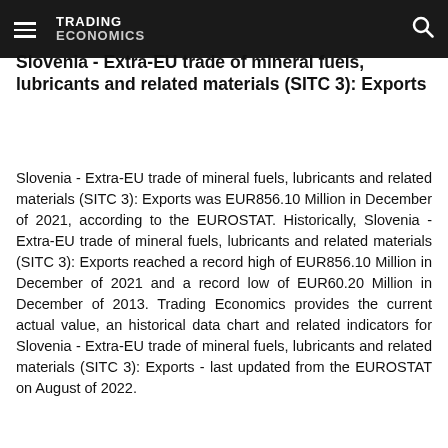TRADING ECONOMICS
Slovenia - Extra-EU trade of mineral fuels, lubricants and related materials (SITC 3): Exports
Slovenia - Extra-EU trade of mineral fuels, lubricants and related materials (SITC 3): Exports was EUR856.10 Million in December of 2021, according to the EUROSTAT. Historically, Slovenia - Extra-EU trade of mineral fuels, lubricants and related materials (SITC 3): Exports reached a record high of EUR856.10 Million in December of 2021 and a record low of EUR60.20 Million in December of 2013. Trading Economics provides the current actual value, an historical data chart and related indicators for Slovenia - Extra-EU trade of mineral fuels, lubricants and related materials (SITC 3): Exports - last updated from the EUROSTAT on August of 2022.